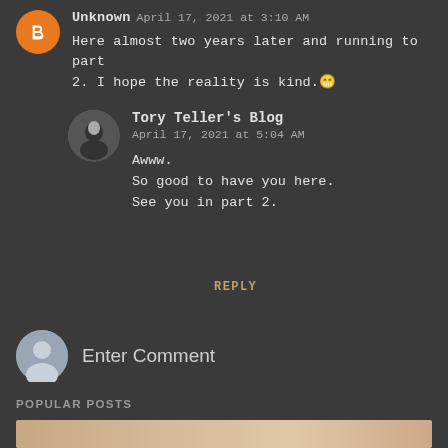Unknown  April 17, 2021 at 3:10 AM
Here almost two years later and running to part 2. I hope the reality is kind.😄
Tory Teller's Blog
April 17, 2021 at 5:04 AM
Awww.
So good to have you here.
See you in part 2.
REPLY
Enter Comment
POPULAR POSTS
[Figure (photo): Partial image of a person's face at bottom of page]